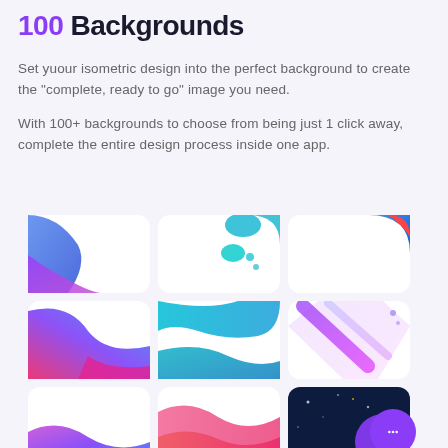100 Backgrounds
Set yuour isometric design into the perfect background to create the "complete, ready to go" image you need.

With 100+ backgrounds to choose from being just 1 click away, complete the entire design process inside one app.
[Figure (illustration): 3x3 grid of background thumbnail cards showing various colorful gradient and blob designs including blue swirls, teal blobs, purple-pink gradients, diagonal streaks, and a dark space background with a purple chat button overlay.]